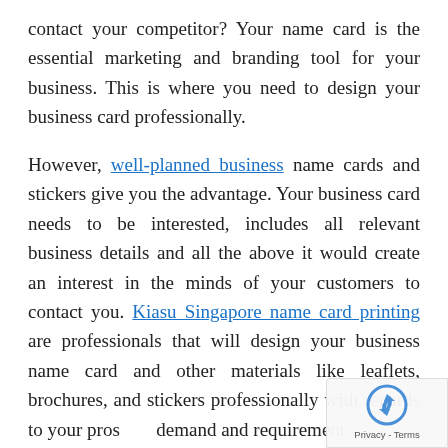contact your competitor? Your name card is the essential marketing and branding tool for your business. This is where you need to design your business card professionally.
However, well-planned business name cards and stickers give you the advantage. Your business card needs to be interested, includes all relevant business details and all the above it would create an interest in the minds of your customers to contact you. Kiasu Singapore name card printing are professionals that will design your business name card and other materials like leaflets, brochures, and stickers professionally with regards to your prospect demand and requirement.
They have expertise in designing your business card